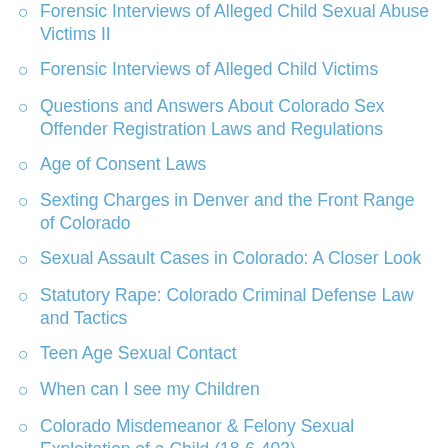Forensic Interviews of Alleged Child Sexual Abuse Victims II
Forensic Interviews of Alleged Child Victims
Questions and Answers About Colorado Sex Offender Registration Laws and Regulations
Age of Consent Laws
Sexting Charges in Denver and the Front Range of Colorado
Sexual Assault Cases in Colorado: A Closer Look
Statutory Rape: Colorado Criminal Defense Law and Tactics
Teen Age Sexual Contact
When can I see my Children
Colorado Misdemeanor & Felony Sexual Exploitation of a Child (18-6-403)